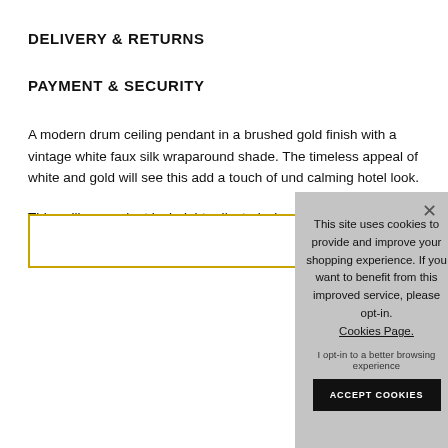DELIVERY & RETURNS
PAYMENT & SECURITY
A modern drum ceiling pendant in a brushed gold finish with a vintage white faux silk wraparound shade. The timeless appeal of white and gold will see this add a touch of und… calming hotel look.
This ceiling pendant is … height adjusted when i… of ceiling. This light is a… switch.
This site uses cookies to provide and improve your shopping experience. If you want to benefit from this improved service, please opt-in. Cookies Page.
I opt-in to a better browsing experience
ACCEPT COOKIES